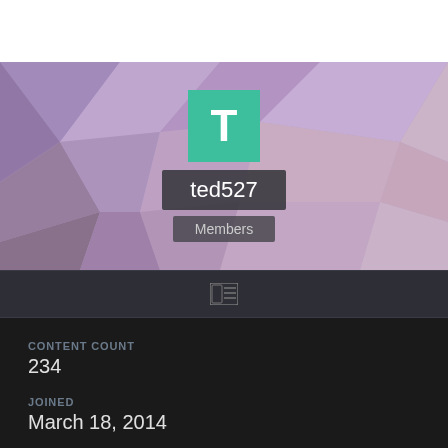[Figure (screenshot): User profile banner with geometric purple/mauve polygon background, teal avatar box with letter T, username badge 'ted527', and role badge 'Members']
ted527
Members
CONTENT COUNT
234
JOINED
March 18, 2014
LAST VISITED
November 10, 2021